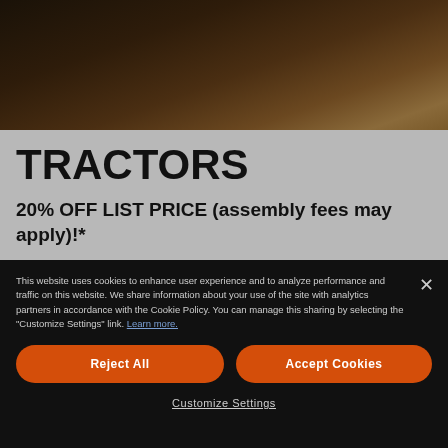[Figure (photo): Dark agricultural field scene with people/tractor visible at top edge, dark brown soil texture]
TRACTORS
20% OFF LIST PRICE (assembly fees may apply)!*
Take on everything from light construction or nursery
This website uses cookies to enhance user experience and to analyze performance and traffic on this website. We share information about your use of the site with analytics partners in accordance with the Cookie Policy. You can manage this sharing by selecting the "Customize Settings" link. Learn more.
Reject All
Accept Cookies
Customize Settings